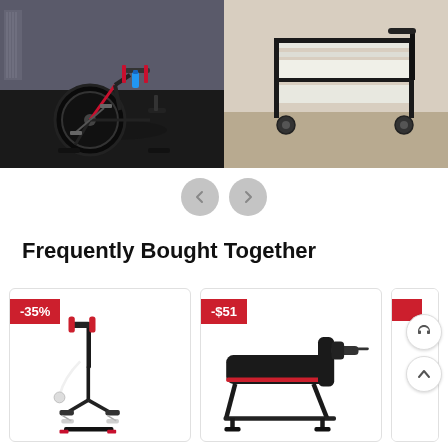[Figure (photo): Product image carousel showing two fitness items: left side shows a black indoor cycling/spin bike with a blue water bottle in a room, right side shows a black rolling cart/trolley on carpet]
[Figure (other): Carousel navigation buttons: left arrow and right arrow, both circular gray buttons]
Frequently Bought Together
[Figure (photo): Product card with -35% discount badge showing a black pedal exerciser bike with red handles]
[Figure (photo): Product card with -$51 discount badge showing a black adjustable weight bench with red accents]
[Figure (other): Partially visible third product card with red discount badge, plus floating UI icons (headset and up arrow)]